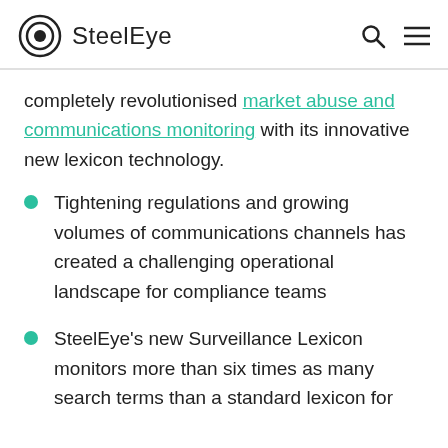SteelEye
completely revolutionised market abuse and communications monitoring with its innovative new lexicon technology.
Tightening regulations and growing volumes of communications channels has created a challenging operational landscape for compliance teams
SteelEye's new Surveillance Lexicon monitors more than six times as many search terms than a standard lexicon for